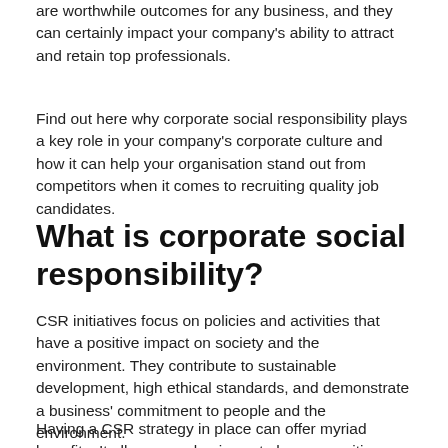are worthwhile outcomes for any business, and they can certainly impact your company's ability to attract and retain top professionals.
Find out here why corporate social responsibility plays a key role in your company's corporate culture and how it can help your organisation stand out from competitors when it comes to recruiting quality job candidates.
What is corporate social responsibility?
CSR initiatives focus on policies and activities that have a positive impact on society and the environment. They contribute to sustainable development, high ethical standards, and demonstrate a business' commitment to people and the environment.
Having a CSR strategy in place can offer myriad benefits. It allows your business to have a positive impact on the surrounding community, help create a better perception of